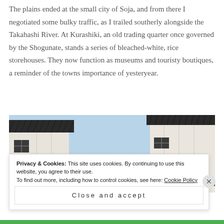The plains ended at the small city of Soja, and from there I negotiated some bulky traffic, as I trailed southerly alongside the Takahashi River. At Kurashiki, an old trading quarter once governed by the Shogunate, stands a series of bleached-white, rice storehouses. They now function as museums and touristy boutiques, a reminder of the towns importance of yesteryear.
[Figure (photo): Upward-looking photograph of white Japanese-style buildings with dark tiled rooftops against a light blue sky, showing traditional architecture typical of Kurashiki's historic district.]
Privacy & Cookies: This site uses cookies. By continuing to use this website, you agree to their use. To find out more, including how to control cookies, see here: Cookie Policy
Close and accept